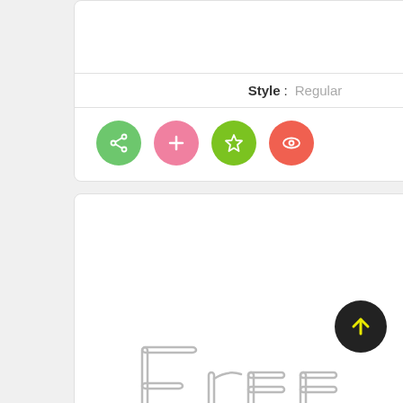Style : Regular
[Figure (illustration): Row of 4 colored circular icon buttons: green share, pink plus, lime star, red eye]
[Figure (illustration): Font preview card showing 'Free' text in Ozone Medium outline style]
Ozone Medium
Style : Medium
[Figure (illustration): Row of 4 colored circular icon buttons: green share, pink plus, lime star, red eye]
[Figure (illustration): Black circular back-to-top button with yellow upward arrow]